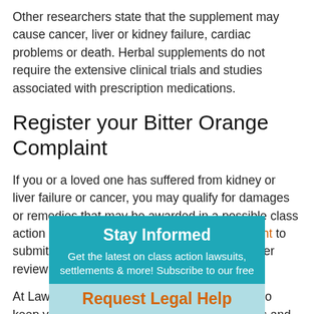Other researchers state that the supplement may cause cancer, liver or kidney failure, cardiac problems or death. Herbal supplements do not require the extensive clinical trials and studies associated with prescription medications.
Register your Bitter Orange Complaint
If you or a loved one has suffered from kidney or liver failure or cancer, you may qualify for damages or remedies that may be awarded in a possible class action lawsuit. Please fill in our form on the right to submit your complaint and we will have a lawyer review your Bitter Orange complaint.
At LawyersandSettlements.com, it is our goal to keep you informed about important legal cases and settlements. We are dedicated to helping you resolve your legal complaints.
[Figure (infographic): Teal banner with 'Stay Informed' title, text about class action lawsuits and settlements, and a light blue bar with orange bold text 'Request Legal Help']